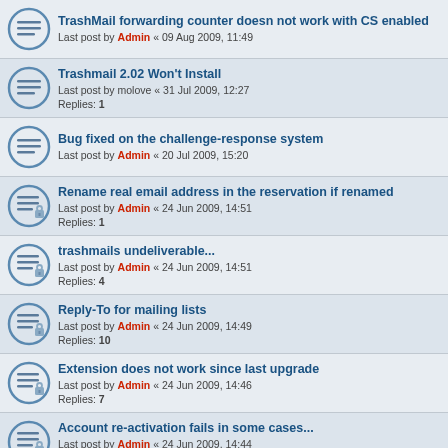TrashMail forwarding counter doesn not work with CS enabled
Last post by Admin « 09 Aug 2009, 11:49
Trashmail 2.02 Won't Install
Last post by molove « 31 Jul 2009, 12:27
Replies: 1
Bug fixed on the challenge-response system
Last post by Admin « 20 Jul 2009, 15:20
Rename real email address in the reservation if renamed
Last post by Admin « 24 Jun 2009, 14:51
Replies: 1
trashmails undeliverable...
Last post by Admin « 24 Jun 2009, 14:51
Replies: 4
Reply-To for mailing lists
Last post by Admin « 24 Jun 2009, 14:49
Replies: 10
Extension does not work since last upgrade
Last post by Admin « 24 Jun 2009, 14:46
Replies: 7
Account re-activation fails in some cases...
Last post by Admin « 24 Jun 2009, 14:44
Replies: 2
FF crash down ...?
Last post by Admin « 24 Jun 2009, 14:43
Replies: 4
Extension
Last post by Admin « 24 Jun 2009, 14:41
Replies: 6